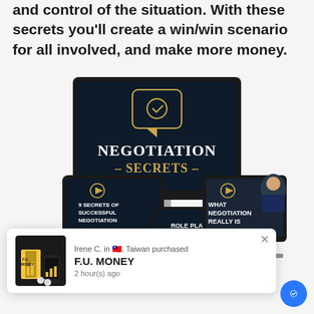and control of the situation. With these secrets you'll create a win/win scenario for all involved, and make more money.
[Figure (photo): Product mockup showing a desktop monitor, tablet, and video card with 'Negotiation Secrets' branding. Sub-items include '9 Secrets of Successful Negotiation', 'Role Play Scenarios', and 'What Negotiation Really Is'.]
Irene C. in 🇹🇼, Taiwan purchased
F.U. MONEY
2 hour(s) ago